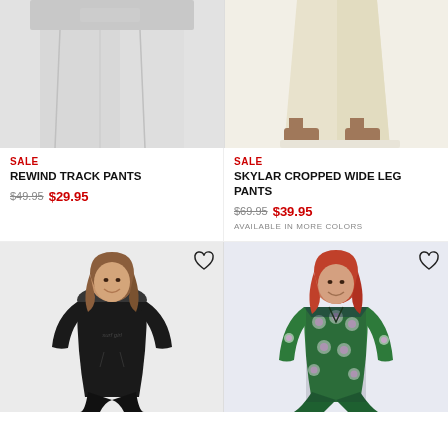[Figure (photo): Close-up of light grey sweatpants fabric, top-left product]
[Figure (photo): Cream/beige wide-leg cropped pants on model with brown strappy heels, top-right product]
SALE
REWIND TRACK PANTS
$49.95 $29.95
SALE
SKYLAR CROPPED WIDE LEG PANTS
$69.95 $39.95
AVAILABLE IN MORE COLORS
[Figure (photo): Woman in black hoodie and black jogger pants, bottom-left product]
[Figure (photo): Woman in green floral wide-leg jumpsuit, bottom-right product]